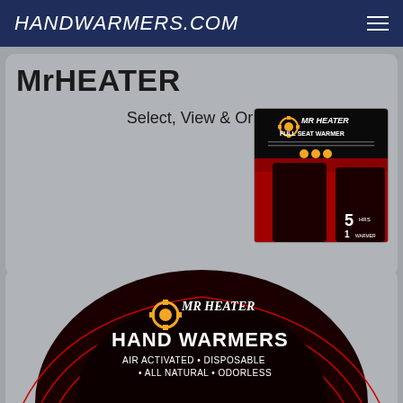HANDWARMERS.COM
MrHEATER
Select, View & Order
[Figure (photo): Mr Heater Full Seat Warmer product packaging — black background with red image, gear logo, text 'MR HEATER FULL SEAT WARMER', '5 hr' and '1' indicators]
[Figure (photo): Mr Heater Hand Warmers product packaging — black circular design with red swirl pattern, gear logo, text 'MR HEATER HAND WARMERS AIR ACTIVATED • DISPOSABLE • ALL NATURAL • ODORLESS']